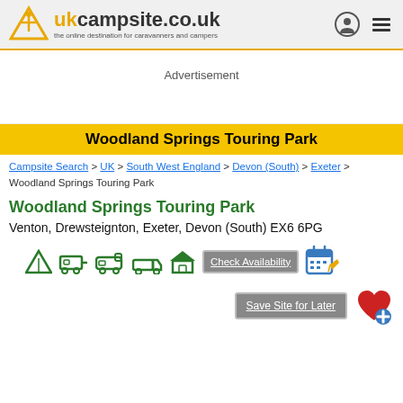ukcampsite.co.uk — the online destination for caravanners and campers
Advertisement
Woodland Springs Touring Park
Campsite Search > UK > South West England > Devon (South) > Exeter > Woodland Springs Touring Park
Woodland Springs Touring Park
Venton, Drewsteignton, Exeter, Devon (South) EX6 6PG
[Figure (infographic): Row of camping/caravan icons (tent, caravan, motorhome, truck, hut) followed by Check Availability button and calendar icon]
[Figure (infographic): Save Site for Later button with red heart plus icon]